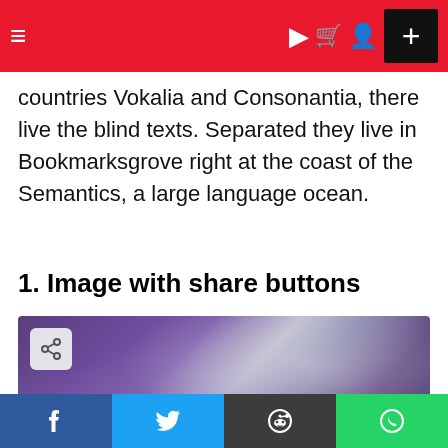≡  [dark mode] [cart] [user]  +
countries Vokalia and Consonantia, there live the blind texts. Separated they live in Bookmarksgrove right at the coast of the Semantics, a large language ocean.
1. Image with share buttons
[Figure (photo): Purple/violet blurred gradient image with a share button icon in the top-left corner and a close button in the bottom-right corner.]
[Figure (infographic): Social share bar with four buttons: Facebook (blue, f), Twitter (cyan, bird), Reddit (dark, alien), WhatsApp (green, phone)]